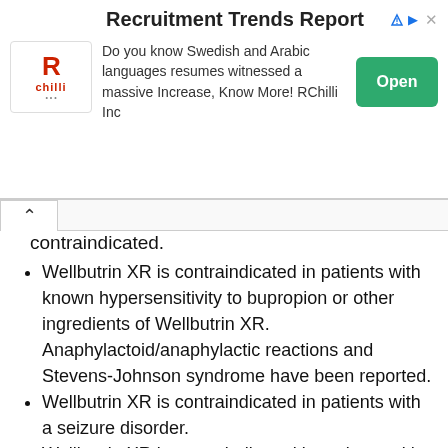[Figure (other): Advertisement banner for RChilli Recruitment Trends Report. Contains RChilli logo, title 'Recruitment Trends Report', description text 'Do you know Swedish and Arabic languages resumes witnessed a massive Increase, Know More! RChilli Inc', and a green 'Open' button. Sponsored/ad indicator with arrow and X icons at top right.]
contraindicated.
Wellbutrin XR is contraindicated in patients with known hypersensitivity to bupropion or other ingredients of Wellbutrin XR. Anaphylactoid/anaphylactic reactions and Stevens-Johnson syndrome have been reported.
Wellbutrin XR is contraindicated in patients with a seizure disorder.
Wellbutrin XR is contraindicated in patients with a current or prior diagnosis of bulimia oranorexia nervosa as a higher incidence of seizures was observed in such patients treated with the